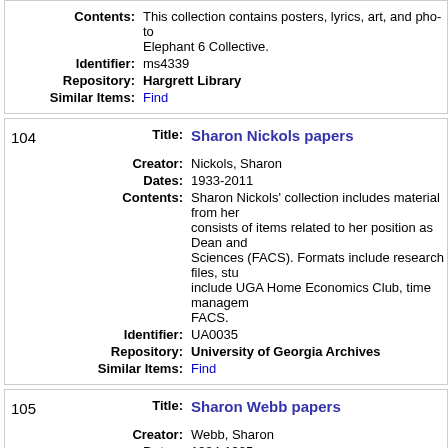| Field | Value |
| --- | --- |
| Contents: | This collection contains posters, lyrics, art, and photos related to the Elephant 6 Collective. |
| Identifier: | ms4339 |
| Repository: | Hargrett Library |
| Similar Items: | Find |
| # | Field | Value |
| --- | --- | --- |
| 104 | Title: | Sharon Nickols papers |
|  | Creator: | Nickols, Sharon |
|  | Dates: | 1933-2011 |
|  | Contents: | Sharon Nickols' collection includes material from her... consists of items related to her position as Dean and... Sciences (FACS). Formats include research files, stu... include UGA Home Economics Club, time managem... FACS. |
|  | Identifier: | UA0035 |
|  | Repository: | University of Georgia Archives |
|  | Similar Items: | Find |
| # | Field | Value |
| --- | --- | --- |
| 105 | Title: | Sharon Webb papers |
|  | Creator: | Webb, Sharon |
|  | Dates: | 1984-1985 |
|  | Contents: | The collection consists of correspondence, manuscri... correspondence includes letters from readers, memb... such as Brad Strickland and Tom Deitz, Webb's fam... |